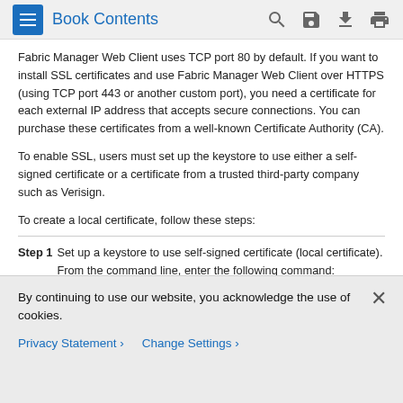Book Contents
Fabric Manager Web Client uses TCP port 80 by default. If you want to install SSL certificates and use Fabric Manager Web Client over HTTPS (using TCP port 443 or another custom port), you need a certificate for each external IP address that accepts secure connections. You can purchase these certificates from a well-known Certificate Authority (CA).
To enable SSL, users must set up the keystore to use either a self-signed certificate or a certificate from a trusted third-party company such as Verisign.
To create a local certificate, follow these steps:
Step 1 Set up a keystore to use self-signed certificate (local certificate). From the command line, enter the following command:
By continuing to use our website, you acknowledge the use of cookies.
Privacy Statement  Change Settings